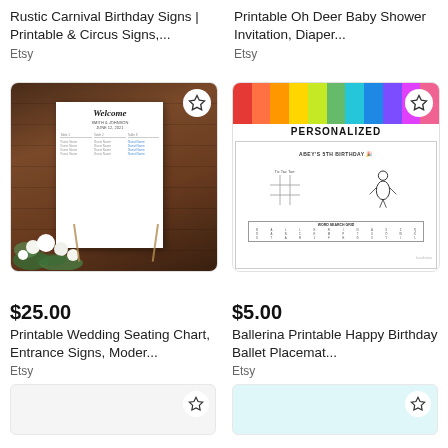Rustic Carnival Birthday Signs | Printable & Circus Signs,...
Etsy
Printable Oh Deer Baby Shower Invitation, Diaper...
Etsy
[Figure (photo): Printable Wedding Seating Chart on an easel with white floral arrangement in front, dark wood background]
[Figure (photo): Ballerina Printable Happy Birthday Ballet Placemat coloring page with PERSONALIZED text, colored pencils at top]
$25.00
Printable Wedding Seating Chart, Entrance Signs, Moder...
Etsy
$5.00
Ballerina Printable Happy Birthday Ballet Placemat...
Etsy
[Figure (photo): Partially visible product image, bottom left card]
[Figure (photo): Partially visible product image with teal/light blue background, bottom right card]